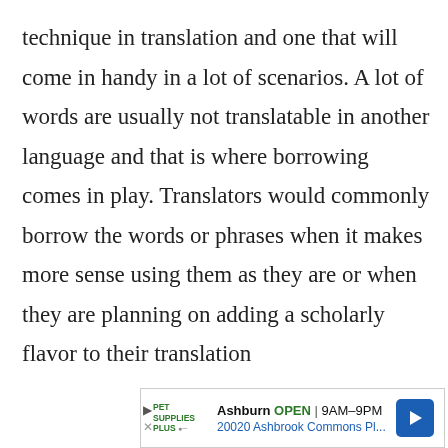technique in translation and one that will come in handy in a lot of scenarios. A lot of words are usually not translatable in another language and that is where borrowing comes in play. Translators would commonly borrow the words or phrases when it makes more sense using them as they are or when they are planning on adding a scholarly flavor to their translation
[Figure (other): Advertisement for Pet Supplies Plus in Ashburn showing OPEN status, hours 9AM-9PM, and address 20020 Ashbrook Commons Pl... with a blue navigation arrow icon. Ad controls (play and close buttons) visible on the left side.]